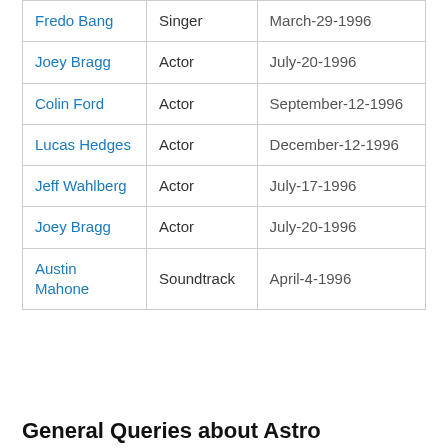| Name | Role | Date |
| --- | --- | --- |
| Fredo Bang | Singer | March-29-1996 |
| Joey Bragg | Actor | July-20-1996 |
| Colin Ford | Actor | September-12-1996 |
| Lucas Hedges | Actor | December-12-1996 |
| Jeff Wahlberg | Actor | July-17-1996 |
| Joey Bragg | Actor | July-20-1996 |
| Austin Mahone | Soundtrack | April-4-1996 |
General Queries about Astro